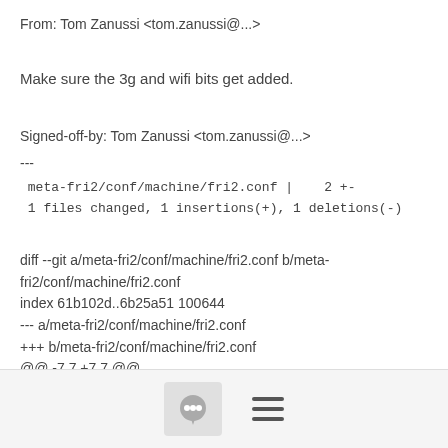From: Tom Zanussi <tom.zanussi@...>
Make sure the 3g and wifi bits get added.
Signed-off-by: Tom Zanussi <tom.zanussi@...>
---
meta-fri2/conf/machine/fri2.conf |    2 +-
 1 files changed, 1 insertions(+), 1 deletions(-)
diff --git a/meta-fri2/conf/machine/fri2.conf b/meta-fri2/conf/machine/fri2.conf
index 61b102d..6b25a51 100644
--- a/meta-fri2/conf/machine/fri2.conf
+++ b/meta-fri2/conf/machine/fri2.conf
@@ -7,7 +7,7 @@
 include conf/machine/include/tune-atom.inc

 MACHINE_FEATURES = "kernel26 screen keyboard pci usbhost
ext2 ext3 x86 )
[Figure (other): Footer bar with chat bubble icon and hamburger menu icon]